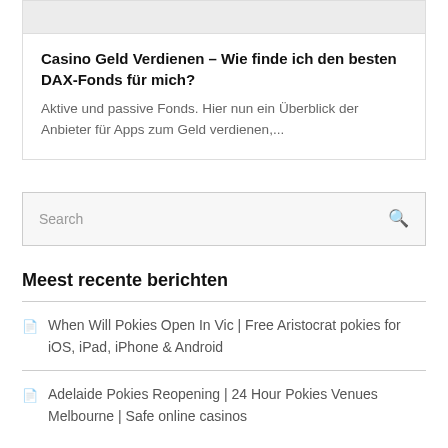Casino Geld Verdienen – Wie finde ich den besten DAX-Fonds für mich?
Aktive und passive Fonds. Hier nun ein Überblick der Anbieter für Apps zum Geld verdienen,...
Search
Meest recente berichten
When Will Pokies Open In Vic | Free Aristocrat pokies for iOS, iPad, iPhone & Android
Adelaide Pokies Reopening | 24 Hour Pokies Venues Melbourne | Safe online casinos